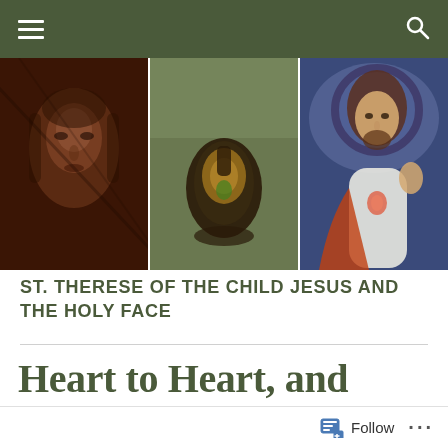[Figure (screenshot): Navigation bar with hamburger menu icon on left and search icon on right, dark olive green background]
[Figure (photo): Three-panel image banner: left panel shows Shroud of Turin face in sepia tones, center panel shows a holy relic or vessel with dark brown/gold tones and green background, right panel shows a painting of Jesus Christ with halo and raised hand]
ST. THERESE OF THE CHILD JESUS AND THE HOLY FACE
Heart to Heart, and
[Figure (screenshot): Follow button bar at bottom with document/follow icon and ellipsis menu]